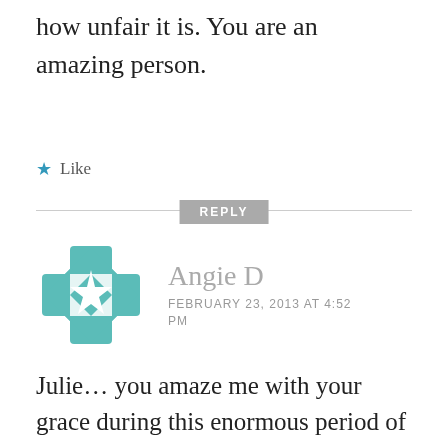how unfair it is. You are an amazing person.
★ Like
REPLY
[Figure (logo): Teal geometric cross/flower avatar icon for Angie D]
Angie D
FEBRUARY 23, 2013 AT 4:52 PM
Julie… you amaze me with your grace during this enormous period of grief that your having to endure but what stands out more than your grace is just how real you have kept it with what you